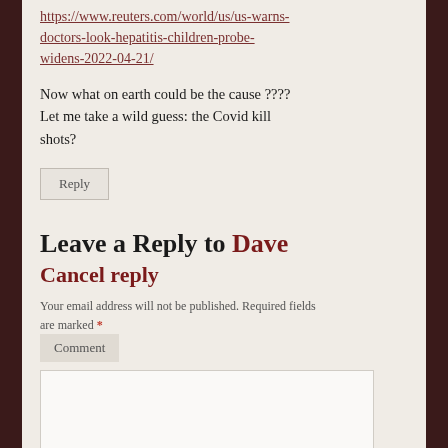https://www.reuters.com/world/us/us-warns-doctors-look-hepatitis-children-probe-widens-2022-04-21/
Now what on earth could be the cause ???? Let me take a wild guess: the Covid kill shots?
Reply
Leave a Reply to Dave
Cancel reply
Your email address will not be published. Required fields are marked *
Comment